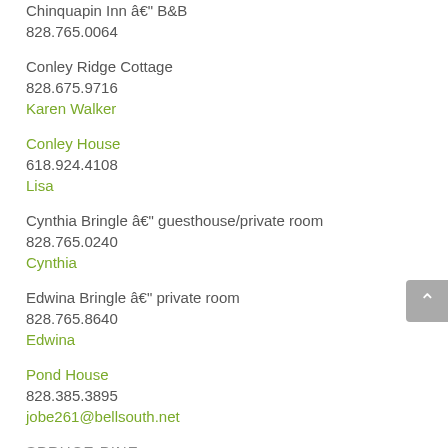Chinquapin Inn â€" B&B
828.765.0064
Conley Ridge Cottage
828.675.9716
Karen Walker
Conley House
618.924.4108
Lisa
Cynthia Bringle â€" guesthouse/private room
828.765.0240
Cynthia
Edwina Bringle â€" private room
828.765.8640
Edwina
Pond House
828.385.3895
jobe261@bellsouth.net
SPRUCE PINE
Arbor Branch â€" guesthouse
907.378.7393